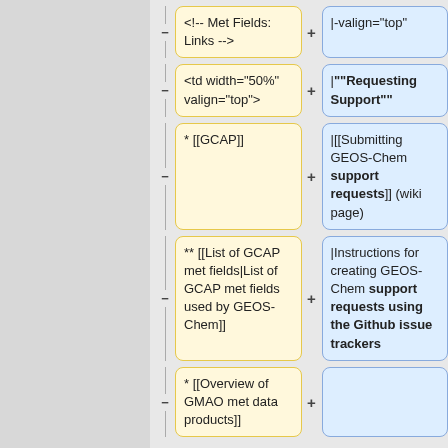[Figure (flowchart): A diff/comparison view showing pairs of yellow (left) and blue (right) code/wiki text boxes connected by minus and plus symbols, representing changes. Rows show: 1) '<!-- Met Fields: Links -->' vs '|-valign="top"', 2) '<td width="50%" valign="top">' vs '|""Requesting Support""', 3) '* [[GCAP]]' vs '|[[Submitting GEOS-Chem support requests]] (wiki page)', 4) '** [[List of GCAP met fields|List of GCAP met fields used by GEOS-Chem]]' vs '|Instructions for creating GEOS-Chem support requests using the Github issue trackers', 5) '* [[Overview of GMAO met data products]]' vs empty blue box.]